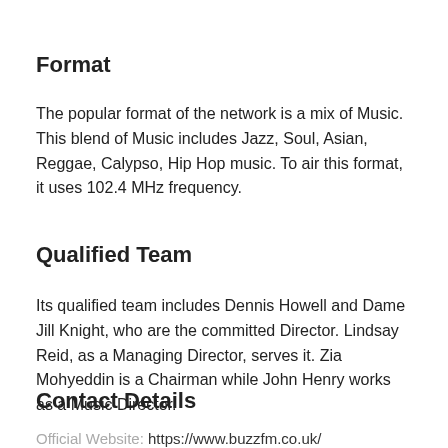Format
The popular format of the network is a mix of Music. This blend of Music includes Jazz, Soul, Asian, Reggae, Calypso, Hip Hop music. To air this format, it uses 102.4 MHz frequency.
Qualified Team
Its qualified team includes Dennis Howell and Dame Jill Knight, who are the committed Director. Lindsay Reid, as a Managing Director, serves it. Zia Mohyeddin is a Chairman while John Henry works as a Music Director.
Contact Details
Official Website: https://www.buzzfm.co.uk/